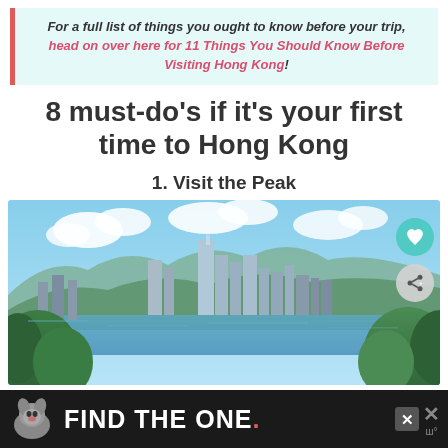For a full list of things you ought to know before your trip, head on over here for 11 Things You Should Know Before Visiting Hong Kong!
8 must-do's if it's your first time to Hong Kong
1. Visit the Peak
[Figure (photo): Aerial view of Hong Kong skyline with skyscrapers, harbor, mountains and blue sky with clouds, framed by green trees in foreground]